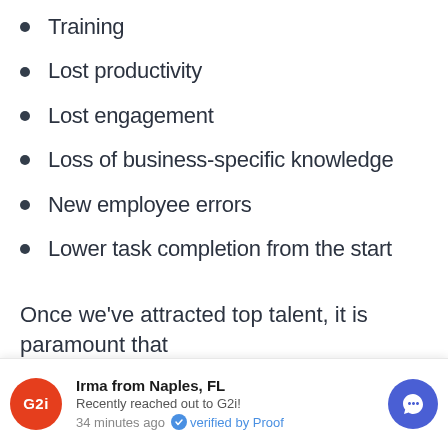Training
Lost productivity
Lost engagement
Loss of business-specific knowledge
New employee errors
Lower task completion from the start
Once we've attracted top talent, it is paramount that we reduce churn and retain those employees to
Irma from Naples, FL
Recently reached out to G2i!
34 minutes ago  verified by Proof